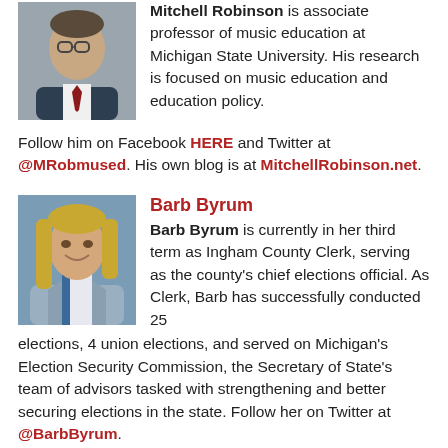[Figure (photo): Headshot of Mitchell Robinson, a man with glasses wearing a suit and tie]
Mitchell Robinson is associate professor of music education at Michigan State University. His research is focused on music education and education policy. Follow him on Facebook HERE and Twitter at @MRobmused. His own blog is at MitchellRobinson.net.
[Figure (photo): Headshot of Barb Byrum, a woman with blonde hair smiling, wearing a blazer]
Barb Byrum
Barb Byrum is currently in her third term as Ingham County Clerk, serving as the county's chief elections official. As Clerk, Barb has successfully conducted 25 elections, 4 union elections, and served on Michigan's Election Security Commission, the Secretary of State's team of advisors tasked with strengthening and better securing elections in the state. Follow her on Twitter at @BarbByrum.